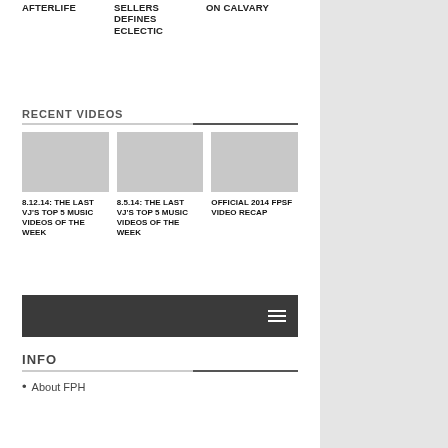AFTERLIFE
SELLERS DEFINES ECLECTIC
ON CALVARY
RECENT VIDEOS
8.12.14: THE LAST VJ'S TOP 5 MUSIC VIDEOS OF THE WEEK
8.5.14: THE LAST VJ'S TOP 5 MUSIC VIDEOS OF THE WEEK
OFFICIAL 2014 FPSF VIDEO RECAP
INFO
About FPH